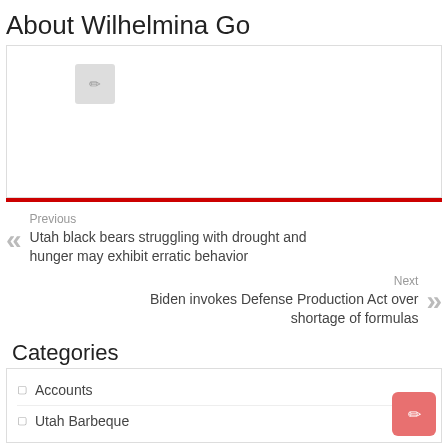About Wilhelmina Go
[Figure (photo): Image placeholder box with a small gray icon in the upper left area]
Previous
Utah black bears struggling with drought and hunger may exhibit erratic behavior
Next
Biden invokes Defense Production Act over shortage of formulas
Categories
Accounts
Utah Barbeque